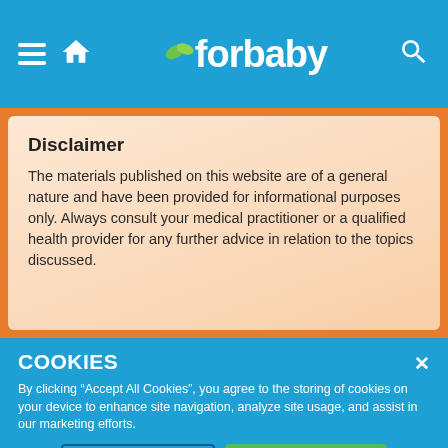forbaby
Disclaimer
The materials published on this website are of a general nature and have been provided for informational purposes only. Always consult your medical practitioner or a qualified health provider for any further advice in relation to the topics discussed.
COOKIES
By clicking “Accept All Cookies”, you agree to the storing of cookies on your device to enhance site navigation, analyze site usage, and assist in our marketing efforts.
Cookies Settings | Accept All Cookies